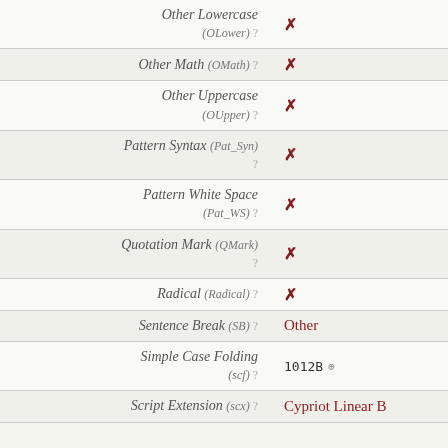| Property | Value |
| --- | --- |
| Other Lowercase (OLower) ? | ✗ |
| Other Math (OMath) ? | ✗ |
| Other Uppercase (OUpper) ? | ✗ |
| Pattern Syntax (Pat_Syn) ? | ✗ |
| Pattern White Space (Pat_WS) ? | ✗ |
| Quotation Mark (QMark) ? | ✗ |
| Radical (Radical) ? | ✗ |
| Sentence Break (SB) ? | Other |
| Simple Case Folding (scf) ? | 1012B ⊕ |
| Script Extension (scx) ? | Cypriot Linear B |